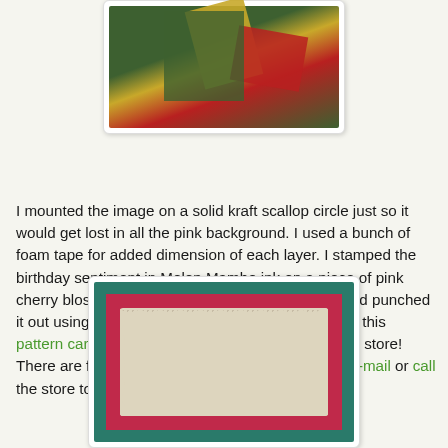[Figure (photo): Close-up photo of colorful cardstock or paper crafts in green, gold, and red tones, displayed in a white-bordered frame]
I mounted the image on a solid kraft scallop circle just so it would get lost in all the pink background. I used a bunch of foam tape for added dimension of each layer. I stamped the birthday sentiment in Melon Mambo ink on a piece of pink cherry blossom cardstock by The Paper Garden and punched it out using the small scalloped oval punch. I LOVE this pattern cardstock sold exclusively from Stephanie's store! There are five other colors and if you want some, e-mail or call the store to place an order.
[Figure (photo): Photo of a handmade card featuring a teal/green border, red mat, and cream scalloped oval center piece on a textured background]